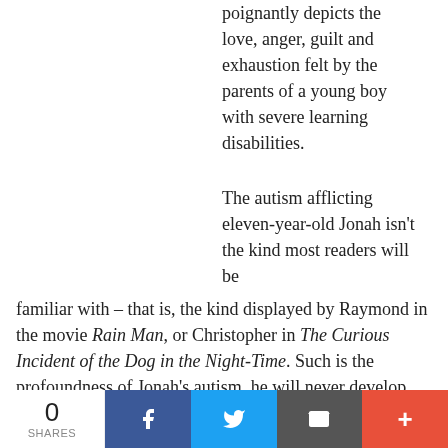poignantly depicts the love, anger, guilt and exhaustion felt by the parents of a young boy with severe learning disabilities.
The autism afflicting eleven-year-old Jonah isn't the kind most readers will be familiar with – that is, the kind displayed by Raymond in the movie Rain Man, or Christopher in The Curious Incident of the Dog in the Night-Time. Such is the profoundness of Jonah's autism, he will never develop language; he communicates through
0 SHARES | Facebook | Twitter | Email | More